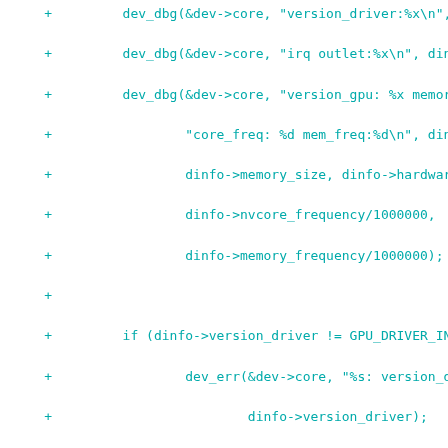[Figure (other): Source code diff showing C code for a Linux kernel driver (PS3 framebuffer), lines prefixed with '+' indicating additions. Code includes dev_dbg calls, version checks, irq setup with ps3_irq_plug_setup, request_irq, and dinfo->irq.mask assignment.]